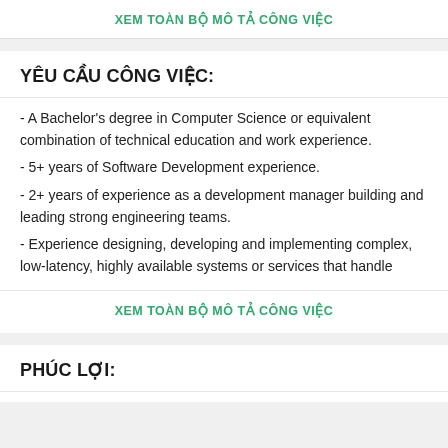XEM TOÀN BỘ MÔ TẢ CÔNG VIỆC
YÊU CẦU CÔNG VIỆC:
- A Bachelor's degree in Computer Science or equivalent combination of technical education and work experience.
- 5+ years of Software Development experience.
- 2+ years of experience as a development manager building and leading strong engineering teams.
- Experience designing, developing and implementing complex, low-latency, highly available systems or services that handle
XEM TOÀN BỘ MÔ TẢ CÔNG VIỆC
PHÚC LỢI: